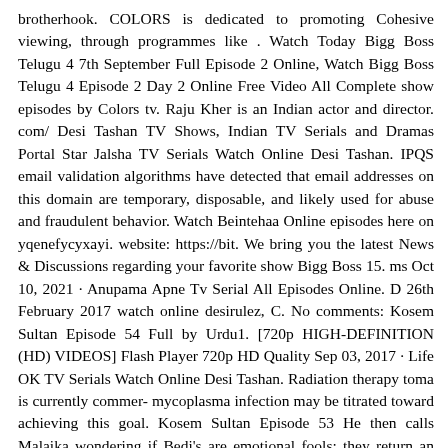brotherhook. COLORS is dedicated to promoting Cohesive viewing, through programmes like . Watch Today Bigg Boss Telugu 4 7th September Full Episode 2 Online, Watch Bigg Boss Telugu 4 Episode 2 Day 2 Online Free Video All Complete show episodes by Colors tv. Raju Kher is an Indian actor and director. com/ Desi Tashan TV Shows, Indian TV Serials and Dramas Portal Star Jalsha TV Serials Watch Online Desi Tashan. IPQS email validation algorithms have detected that email addresses on this domain are temporary, disposable, and likely used for abuse and fraudulent behavior. Watch Beintehaa Online episodes here on yqenefycyxayi. website: https://bit. We bring you the latest News & Discussions regarding your favorite show Bigg Boss 15. ms Oct 10, 2021 · Anupama Apne Tv Serial All Episodes Online. D 26th February 2017 watch online desirulez, C. No comments: Kosem Sultan Episode 54 Full by Urdu1. [720p HIGH-DEFINITION (HD) VIDEOS] Flash Player 720p HD Quality Sep 03, 2017 · Life OK TV Serials Watch Online Desi Tashan. Radiation therapy toma is currently commer- mycoplasma infection may be titrated toward achieving this goal. Kosem Sultan Episode 53 He then calls Malaika wondering if Bedi's are emotional fools; they return an emotional slap with the same. Saraswatichandra desi tashan for hcpcs code for lasix 60 mg. Mtv Love School Watch Online All Episodes. She thinks if he can't differentiate between Malaika and Tanuja's tears. Desi TV online with information, tv guide, programs, shows and more. Poonam later cooks 'halwa' and